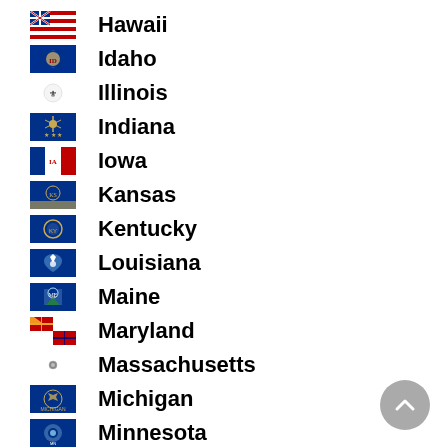Hawaii
Idaho
Illinois
Indiana
Iowa
Kansas
Kentucky
Louisiana
Maine
Maryland
Massachusetts
Michigan
Minnesota
Mississippi